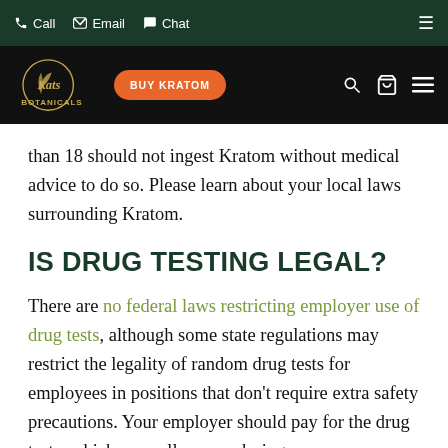Call  Email  Chat
[Figure (logo): Kats Botanicals logo with BUY KRATOM button, search, cart, and hamburger menu icons on black background]
than 18 should not ingest Kratom without medical advice to do so. Please learn about your local laws surrounding Kratom.
IS DRUG TESTING LEGAL?
There are no federal laws restricting employer use of drug tests, although some state regulations may restrict the legality of random drug tests for employees in positions that don't require extra safety precautions. Your employer should pay for the drug tests, which normally occur during your